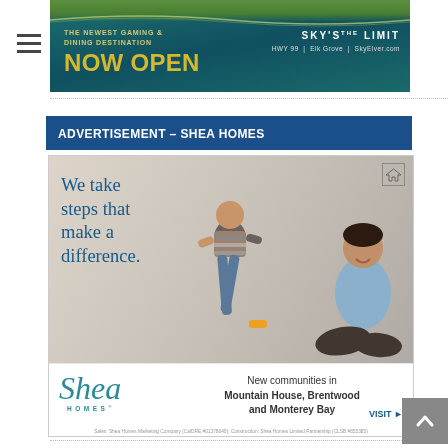[Figure (advertisement): Gaming and dining destination banner ad with teal background, gold text reading 'THE NEWEST GAMING & DINING DESTINATION NOW OPEN', and 'SKY'S THE LIMIT' logo with HWY 99 | Elk Grove | SkyElver.com]
ADVERTISEMENT – SHEA HOMES
[Figure (advertisement): Shea Homes advertisement showing a child running toward camera with an adult sitting in background on a light floor. Text reads 'We take steps that make a difference.' Bottom section shows Shea Homes logo and text 'New communities in Mountain House, Brentwood and Monterey Bay' with VISIT button. Fine print: Sales: Shea Homes Marketing Company (CalDRE #01378640); Construction: Shea Homes Limited Partnership (CLSB #855385)]